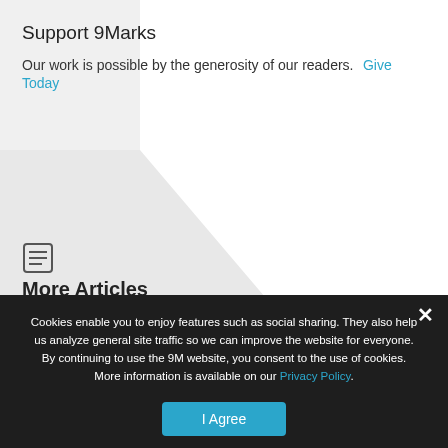Support 9Marks
Our work is possible by the generosity of our readers. Give Today
More Articles
The Pr... [article title partial]
By Bob Jo...
Only U... [article title partial]
By Mark Dever
9Marks Mailbag
Cookies enable you to enjoy features such as social sharing. They also help us analyze general site traffic so we can improve the website for everyone. By continuing to use the 9M website, you consent to the use of cookies. More information is available on our Privacy Policy.
I Agree